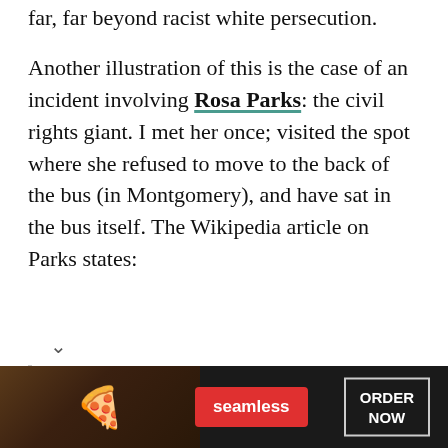far, far beyond racist white persecution.
Another illustration of this is the case of an incident involving Rosa Parks: the civil rights giant. I met her once; visited the spot where she refused to move to the back of the bus (in Montgomery), and have sat in the bus itself. The Wikipedia article on Parks states:
On August 30, 1994, Joseph Skipper, an African-American drug addict, attacked 81-year-old Parks in her home. The incident sparked outrage
[Figure (other): Seamless food delivery advertisement banner with pizza image, seamless logo button, and ORDER NOW button]